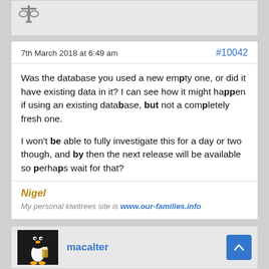[Figure (illustration): Top of a forum post card showing a partial avatar icon (looks like a scale/balance icon) on a grey background]
7th March 2018 at 6:49 am
#10042
Was the database you used a new empty one, or did it have existing data in it? I can see how it might happen if using an existing database, but not a completely fresh one.

I won't be able to fully investigate this for a day or two though, and by then the next release will be available so perhaps wait for that?
Nigel
My personal kiwitrees site is www.our-families.info
[Figure (illustration): Bottom forum post card showing a Linux Tux penguin avatar and username macalter, with a blue scroll-to-top button]